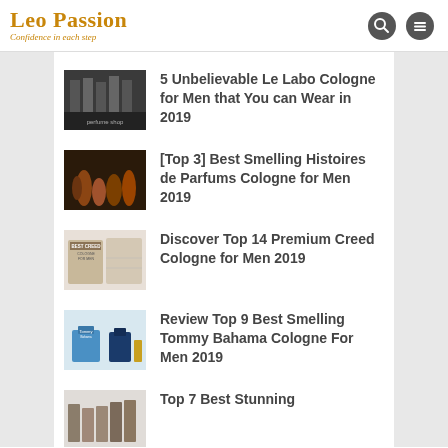Leo Passion — Confidence in each step
5 Unbelievable Le Labo Cologne for Men that You can Wear in 2019
[Top 3] Best Smelling Histoires de Parfums Cologne for Men 2019
Discover Top 14 Premium Creed Cologne for Men 2019
Review Top 9 Best Smelling Tommy Bahama Cologne For Men 2019
Top 7 Best Stunning